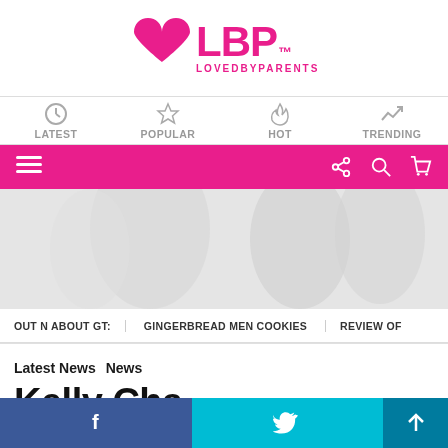[Figure (logo): LBP Loved By Parents logo — pink heart with LBP text and LOVEDBYPARENTS subtitle]
LATEST  POPULAR  HOT  TRENDING
Menu navigation bar with share, search, and cart icons
[Figure (photo): Hero image — light grey/white blurred background photo]
OUT N ABOUT GT:   GINGERBREAD MEN COOKIES   REVIEW OF
Latest News   News
Kelly Cha...